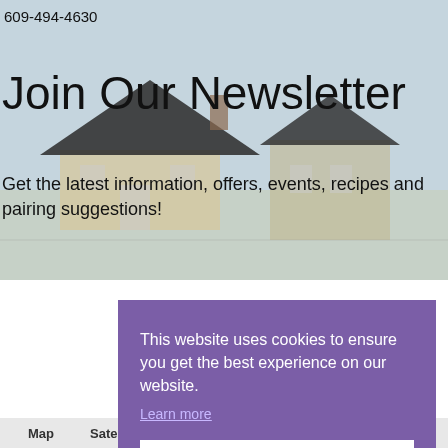609-494-4630
Join Our Newsletter
Get the latest information, offers, events, recipes and pairing suggestions!
[Figure (illustration): Watercolor painting of a house/barn with a dark roof against a light blue-grey sky background]
Nam
Ema
This website uses cookies to ensure you get the best experience on our website. Learn more
Got it
Map   Satellite   20u